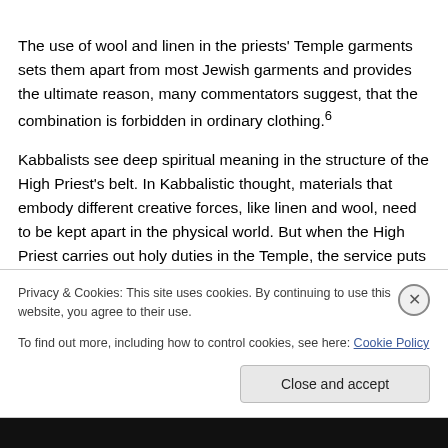The use of wool and linen in the priests' Temple garments sets them apart from most Jewish garments and provides the ultimate reason, many commentators suggest, that the combination is forbidden in ordinary clothing.6
Kabbalists see deep spiritual meaning in the structure of the High Priest's belt. In Kabbalistic thought, materials that embody different creative forces, like linen and wool, need to be kept apart in the physical world. But when the High Priest carries out holy duties in the Temple, the service puts the High Priest in God's presence, and before the
Privacy & Cookies: This site uses cookies. By continuing to use this website, you agree to their use.
To find out more, including how to control cookies, see here: Cookie Policy
Close and accept